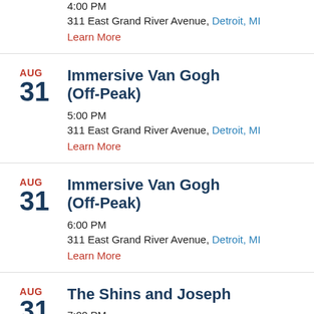4:00 PM
311 East Grand River Avenue, Detroit, MI
Learn More
AUG 31 Immersive Van Gogh (Off-Peak)
5:00 PM
311 East Grand River Avenue, Detroit, MI
Learn More
AUG 31 Immersive Van Gogh (Off-Peak)
6:00 PM
311 East Grand River Avenue, Detroit, MI
Learn More
AUG 31 The Shins and Joseph
7:00 PM